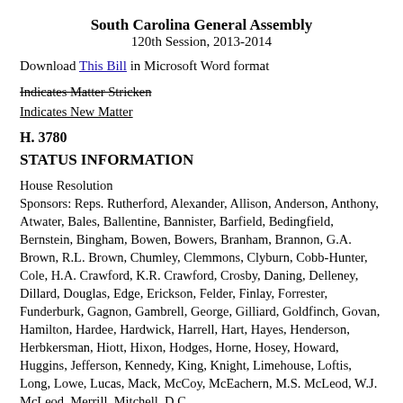South Carolina General Assembly
120th Session, 2013-2014
Download This Bill in Microsoft Word format
Indicates Matter Stricken
Indicates New Matter
H. 3780
STATUS INFORMATION
House Resolution
Sponsors: Reps. Rutherford, Alexander, Allison, Anderson, Anthony, Atwater, Bales, Ballentine, Bannister, Barfield, Bedingfield, Bernstein, Bingham, Bowen, Bowers, Branham, Brannon, G.A. Brown, R.L. Brown, Chumley, Clemmons, Clyburn, Cobb-Hunter, Cole, H.A. Crawford, K.R. Crawford, Crosby, Daning, Delleney, Dillard, Douglas, Edge, Erickson, Felder, Finlay, Forrester, Funderburk, Gagnon, Gambrell, George, Gilliard, Goldfinch, Govan, Hamilton, Hardee, Hardwick, Harrell, Hart, Hayes, Henderson, Herbkersman, Hiott, Hixon, Hodges, Horne, Hosey, Howard, Huggins, Jefferson, Kennedy, King, Knight, Limehouse, Loftis, Long, Lowe, Lucas, Mack, McCoy, McEachern, M.S. McLeod, W.J. McLeod, Merrill, Mitchell, D.C.